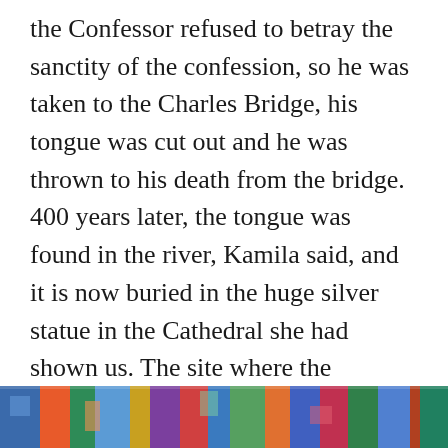the Confessor refused to betray the sanctity of the confession, so he was taken to the Charles Bridge, his tongue was cut out and he was thrown to his death from the bridge. 400 years later, the tongue was found in the river, Kamila said, and it is now buried in the huge silver statue in the Cathedral she had shown us. The site where the Confessor was thrown from the bridge also has a statue and people make a wish, rub the statue, and their wish will come true. Remember the meaning of Praha – threshold between myth and reality.
[Figure (photo): Colorful image strip at the bottom of the page, appearing to show a vibrant mosaic or decorative artwork with blues, reds, greens and other colors.]